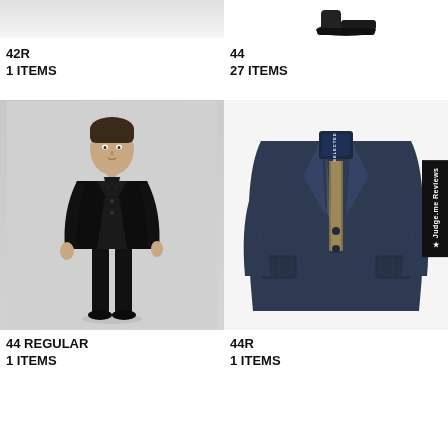[Figure (photo): Partial top of a light gray background, cropped product/model image]
42R
1 ITEMS
[Figure (photo): Partial image of dark dress shoes on white background]
44
27 ITEMS
[Figure (photo): Man wearing a full black suit standing on gray background]
44 REGULAR
1 ITEMS
[Figure (photo): Navy blue blazer/sport coat laid flat on white background, with SELECTED brand label visible inside collar]
44R
1 ITEMS